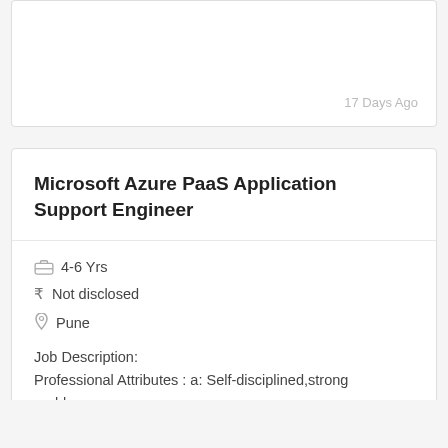17 Days Ago
Microsoft Azure PaaS Application Support Engineer
4-6 Yrs
Not disclosed
Pune
Job Description:
Professional Attributes : a: Self-disciplined,strong problem...
17 Days Ago